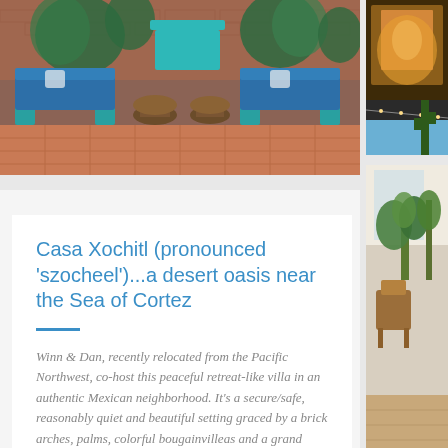[Figure (photo): Outdoor courtyard patio with blue sofas on teal/painted cinder block bases, tree stump side tables, terracotta tile floor, tropical plants and brick wall in background]
[Figure (photo): Right side strip showing three photos: top with warm orange/amber interior lighting, middle gap, bottom with indoor garden/plant area with wood chair]
Casa Xochitl (pronounced 'szocheel')...a desert oasis near the Sea of Cortez
Winn & Dan, recently relocated from the Pacific Northwest, co-host this peaceful retreat-like villa in an authentic Mexican neighborhood. It's a secure/safe, reasonably quiet and beautiful setting graced by a brick arches, palms, colorful bougainvilleas and a grand laurel, a centerpiece in the courtyard.